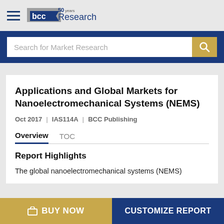[Figure (logo): BCC Research logo with '50 years' badge above letters 'bcc' in blue/grey with 'Research' text]
Search for Market Research
Applications and Global Markets for Nanoelectromechanical Systems (NEMS)
Oct 2017  |  IAS114A  |  BCC Publishing
Overview   TOC
Report Highlights
The global nanoelectromechanical systems (NEMS)
BUY NOW
CUSTOMIZE REPORT